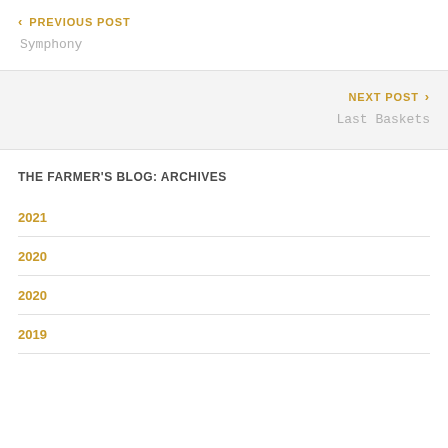< PREVIOUS POST
Symphony
NEXT POST >
Last Baskets
THE FARMER'S BLOG: ARCHIVES
2021
2020
2020
2019